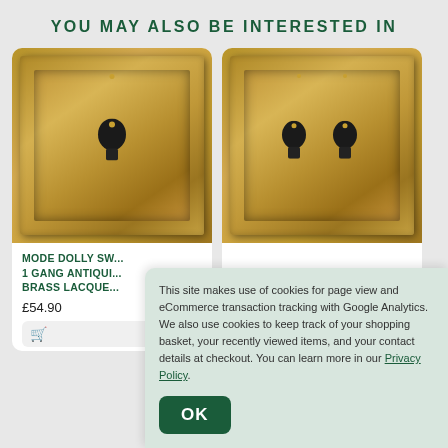YOU MAY ALSO BE INTERESTED IN
[Figure (photo): Mode Dolly Switch 1 Gang Antique Brass Lacquered - product photo showing brass light switch plate with single toggle]
MODE DOLLY SWITCH
1 GANG ANTIQUE
BRASS LACQUE...
£54.90
Select
[Figure (photo): Two-gang antique brass light switch plate with two toggle switches]
This site makes use of cookies for page view and eCommerce transaction tracking with Google Analytics. We also use cookies to keep track of your shopping basket, your recently viewed items, and your contact details at checkout. You can learn more in our Privacy Policy.
OK